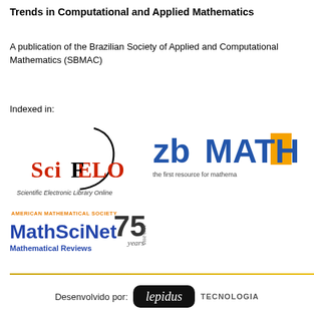Trends in Computational and Applied Mathematics
A publication of the Brazilian Society of Applied and Computational Mathematics (SBMAC)
Indexed in:
[Figure (logo): SciELO - Scientific Electronic Library Online logo]
[Figure (logo): zbMATH - the first resource for mathematics logo]
[Figure (logo): MathSciNet Mathematical Reviews 75 years logo]
Desenvolvido por: lepidus TECNOLOGIA